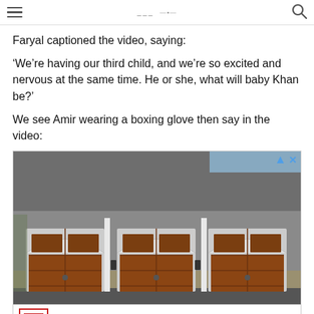[hamburger menu] [logo] [search icon]
Faryal captioned the video, saying:
‘We’re having our third child, and we’re so excited and nervous at the same time. He or she, what will baby Khan be?’
We see Amir wearing a boxing glove then say in the video:
[Figure (photo): Advertisement showing a three-car garage with wooden arched garage doors on a house with gray siding and stone accents. Clear blue sky in background. Ad corner controls (triangle and X) visible in top right.]
Overhead Door Company™